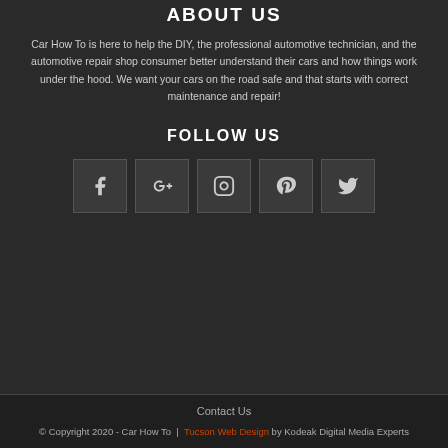ABOUT US
Car How To is here to help the DIY, the professional automotive technician, and the automotive repair shop consumer better understand their cars and how things work under the hood. We want your cars on the road safe and that starts with correct maintenance and repair!
FOLLOW US
[Figure (other): Five social media icon buttons: Facebook, Google+, Instagram, Pinterest, Twitter]
Contact Us
© Copyright 2020 - Car How To | Tucson Web Design by Kodeak Digital Media Experts